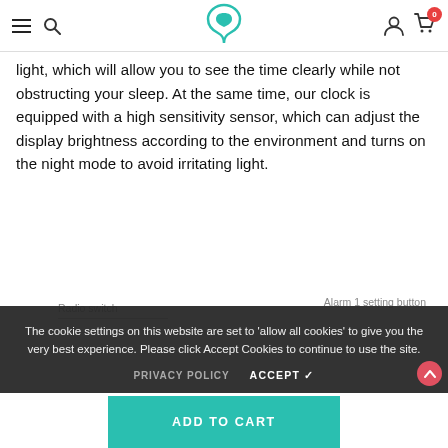Navigation bar with hamburger menu, search, logo, user icon, and cart (0)
light, which will allow you to see the time clearly while not obstructing your sleep. At the same time, our clock is equipped with a high sensitivity sensor, which can adjust the display brightness according to the environment and turns on the night mode to avoid irritating light.
Radio switch
Alarm 1 setting button
The cookie settings on this website are set to 'allow all cookies' to give you the very best experience. Please click Accept Cookies to continue to use the site.
PRIVACY POLICY   ACCEPT ✓
ADD TO CART